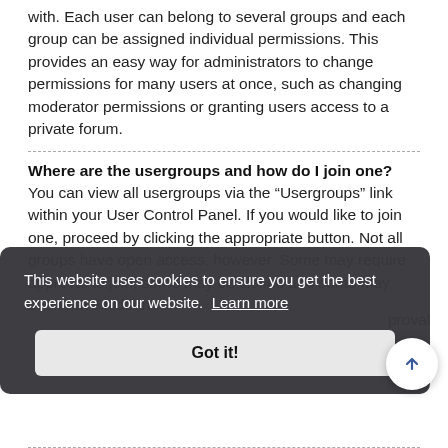with. Each user can belong to several groups and each group can be assigned individual permissions. This provides an easy way for administrators to change permissions for many users at once, such as changing moderator permissions or granting users access to a private forum.
Where are the usergroups and how do I join one?
You can view all usergroups via the “Usergroups” link within your User Control Panel. If you would like to join one, proceed by clicking the appropriate button. Not all groups have open access, however. Some may require approval to join, some may be closed and some may even have hidden
proval iate ur
This website uses cookies to ensure you get the best experience on our website. Learn more
Got it!